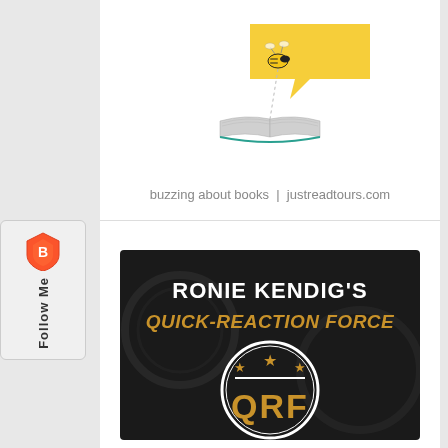[Figure (logo): Just Read Tours logo: bee with speech bubble and open book, with text 'buzzing about books | justreadtours.com']
[Figure (logo): Ronie Kendig's Quick-Reaction Force (QRF) promotional banner on dark military background with stars and circular badge]
[Figure (illustration): Follow Me sidebar button with Brave browser shield icon]